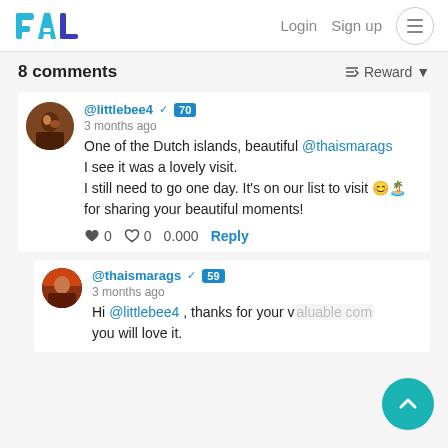PAL  Login  Sign up
8 comments
Reward
@littlebee4  70
3 months ago
One of the Dutch islands, beautiful @thaismarags I see it was a lovely visit.
I still need to go one day. It's on our list to visit 😊🏝️ for sharing your beautiful moments!
0  0  0.000  Reply
@thaismarags  59
3 months ago
Hi @littlebee4 , thanks for your valuable com... you will love it.